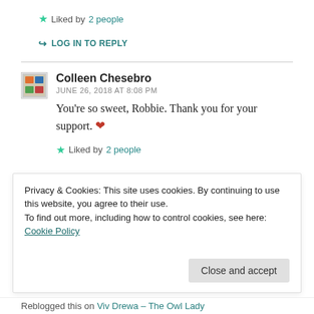★ Liked by 2 people
↪ LOG IN TO REPLY
Colleen Chesebro
JUNE 26, 2018 AT 8:08 PM
You're so sweet, Robbie. Thank you for your support. ❤
★ Liked by 2 people
Privacy & Cookies: This site uses cookies. By continuing to use this website, you agree to their use.
To find out more, including how to control cookies, see here: Cookie Policy
Close and accept
Reblogged this on Viv Drewa – The Owl Lady